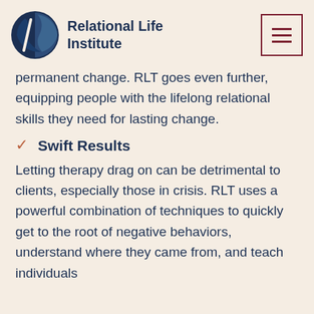Relational Life Institute
permanent change. RLT goes even further, equipping people with the lifelong relational skills they need for lasting change.
Swift Results
Letting therapy drag on can be detrimental to clients, especially those in crisis. RLT uses a powerful combination of techniques to quickly get to the root of negative behaviors, understand where they came from, and teach individuals